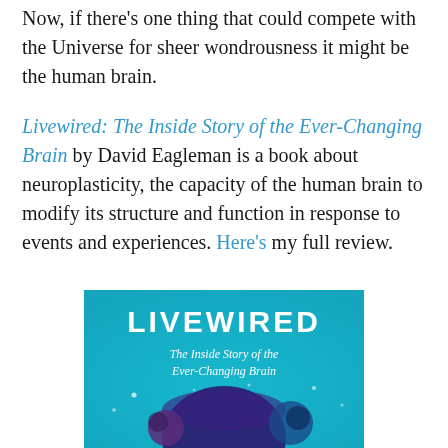Now, if there's one thing that could compete with the Universe for sheer wondrousness it might be the human brain.
Livewired: The Inside Story of the Ever-Changing Brain by David Eagleman is a book about neuroplasticity, the capacity of the human brain to modify its structure and function in response to events and experiences. Here's my full review.
[Figure (illustration): Book cover of 'Livewired: The Inside Story of the Ever-Changing Brain' by David Eagleman. Cyan/turquoise background with large white text 'LIVEWIRED' at top, subtitle 'The Inside Story of the Ever-Changing Brain' below, and illustrated brain-like spheres/planets at the bottom.]